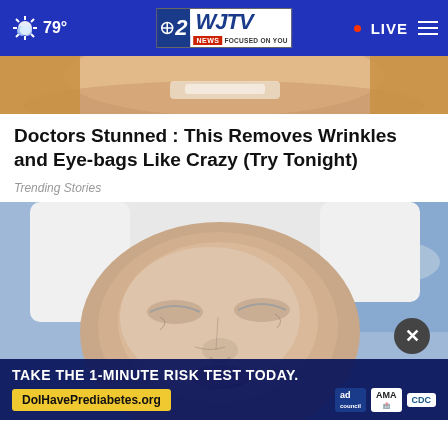79° WJTV 12 News Focused On You • LIVE
[Figure (photo): Cropped photo showing a smiling woman's face and blonde hair, background partially visible]
Doctors Stunned : This Removes Wrinkles and Eye-bags Like Crazy (Try Tonight)
Trending Stories
[Figure (photo): Close-up photo of a person lying down with a face mask or treatment applied, eyes closed, wrapped in white towel]
TAKE THE 1-MINUTE RISK TEST TODAY.
DoIHavePrediabetes.org